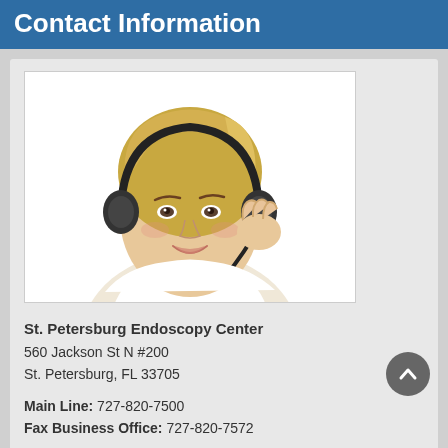Contact Information
[Figure (photo): Woman with headset smiling, representing a call center / contact representative]
St. Petersburg Endoscopy Center
560 Jackson St N #200
St. Petersburg, FL 33705

Main Line: 727-820-7500
Fax Business Office: 727-820-7572
The medical information published on this website is not